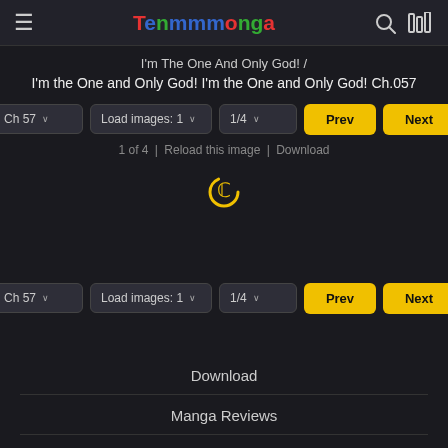TenManga
I'm The One And Only God! / I'm the One and Only God! I'm the One and Only God! Ch.057
Ch 57 | Load images: 1 | 1/4 | Prev | Next
1 of 4 | Reload this image | Download
[Figure (other): Loading spinner icon]
Ch 57 | Load images: 1 | 1/4 | Prev | Next
Download
Manga Reviews
Novel Cool